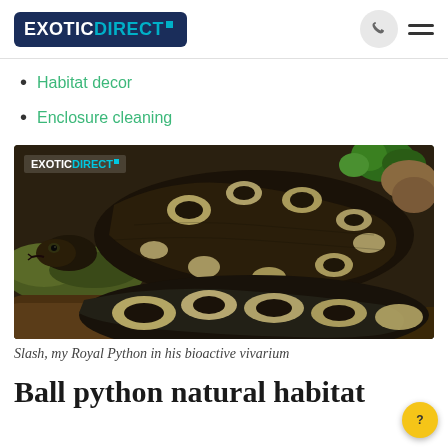EXOTICDIRECT
Habitat decor
Enclosure cleaning
[Figure (photo): A ball python (Royal Python) coiled in a bioactive vivarium with moss, branches, and green plants. The snake has distinctive brown and cream/white patterning. An ExoticDirect watermark appears in the top-left corner of the image.]
Slash, my Royal Python in his bioactive vivarium
Ball python natural habitat